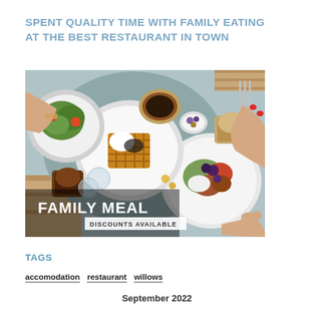SPENT QUALITY TIME WITH FAMILY EATING AT THE BEST RESTAURANT IN TOWN
[Figure (photo): Overhead view of a restaurant table with multiple dishes including waffles, salads, and drinks. Hands visible reaching for food. Overlaid text reads 'FAMILY MEAL' and 'DISCOUNTS AVAILABLE'.]
TAGS
accomodation  restaurant  willows
September 2022